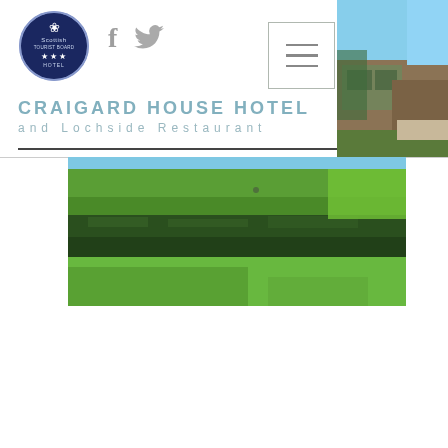[Figure (logo): Scottish Tourist Board 3-star Hotel oval navy logo]
[Figure (illustration): Facebook and Twitter social media icons in grey]
[Figure (illustration): Hamburger menu button with three horizontal bars]
CRAIGARD HOUSE HOTEL
and Lochside Restaurant
[Figure (photo): Photograph of hotel building exterior with stone walls and climbing plants, blue sky]
[Figure (photo): Photograph of hotel grounds showing green lawn and manicured hedge in sunlight]